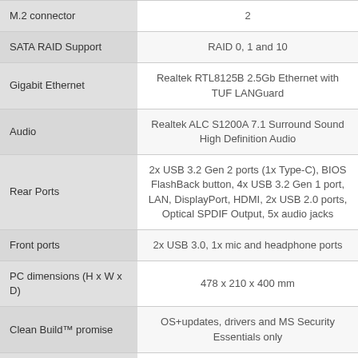| Feature | Specification |
| --- | --- |
| M.2 connector | 2 |
| SATA RAID Support | RAID 0, 1 and 10 |
| Gigabit Ethernet | Realtek RTL8125B 2.5Gb Ethernet with TUF LANGuard |
| Audio | Realtek ALC S1200A 7.1 Surround Sound High Definition Audio |
| Rear Ports | 2x USB 3.2 Gen 2 ports (1x Type-C), BIOS FlashBack button, 4x USB 3.2 Gen 1 port, LAN, DisplayPort, HDMI, 2x USB 2.0 ports, Optical SPDIF Output, 5x audio jacks |
| Front ports | 2x USB 3.0, 1x mic and headphone ports |
| PC dimensions (H x W x D) | 478 x 210 x 400 mm |
| Clean Build™ promise | OS+updates, drivers and MS Security Essentials only |
| Recovery | Windows installation and drivers DVDs |